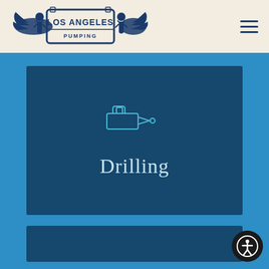[Figure (logo): Los Angeles Pumping logo with angels and wings in dark blue on cream background]
[Figure (illustration): Drilling service card with pump/drill icon and text 'Drilling' on dark blue background]
[Figure (illustration): Second service card (partially visible) on dark blue background]
[Figure (other): Accessibility icon button, circular, black background with white human figure]